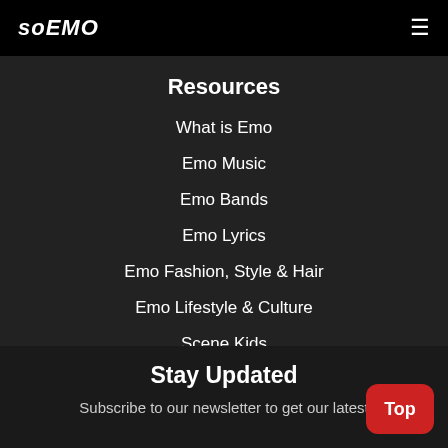soEMO
Resources
What is Emo
Emo Music
Emo Bands
Emo Lyrics
Emo Fashion, Style & Hair
Emo Lifestyle & Culture
Scene Kids
Stay Updated
Subscribe to our newsletter to get our latest